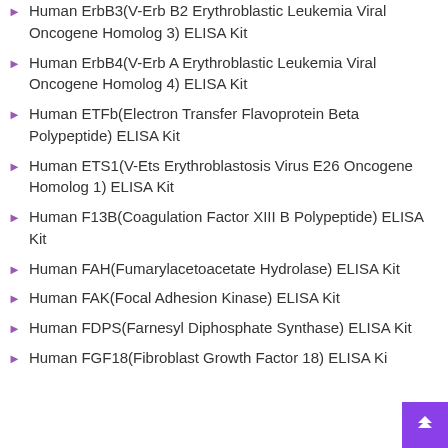Human ErbB3(V-Erb B2 Erythroblastic Leukemia Viral Oncogene Homolog 3) ELISA Kit
Human ErbB4(V-Erb A Erythroblastic Leukemia Viral Oncogene Homolog 4) ELISA Kit
Human ETFb(Electron Transfer Flavoprotein Beta Polypeptide) ELISA Kit
Human ETS1(V-Ets Erythroblastosis Virus E26 Oncogene Homolog 1) ELISA Kit
Human F13B(Coagulation Factor XIII B Polypeptide) ELISA Kit
Human FAH(Fumarylacetoacetate Hydrolase) ELISA Kit
Human FAK(Focal Adhesion Kinase) ELISA Kit
Human FDPS(Farnesyl Diphosphate Synthase) ELISA Kit
Human FGF18(Fibroblast Growth Factor 18) ELISA Kit